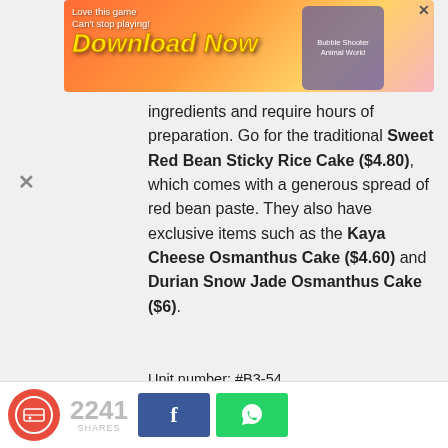[Figure (screenshot): Mobile advertisement banner: 'Love this game Can't stop playing! Download Now' with colorful game graphics and Bubble Shooter Animal World badge]
ingredients and require hours of preparation. Go for the traditional Sweet Red Bean Sticky Rice Cake ($4.80), which comes with a generous spread of red bean paste. They also have exclusive items such as the Kaya Cheese Osmanthus Cake ($4.60) and Durian Snow Jade Osmanthus Cake ($6).
Unit number: #B3-54
Opening hours: Daily 11am to 10pm
Tel: 6509 4658
Website
Nam Dae Mun is not a halal-certified eatery.
21. Potato Corner